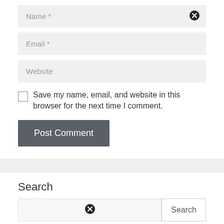[Figure (screenshot): Form field labeled 'Name *' with a close/clear (X) icon on the right]
[Figure (screenshot): Form field labeled 'Email *']
[Figure (screenshot): Form field labeled 'Website']
Save my name, email, and website in this browser for the next time I comment.
[Figure (screenshot): Button labeled 'Post Comment' with dark gray background]
Search
[Figure (screenshot): Search input field with X icon and a Search button]